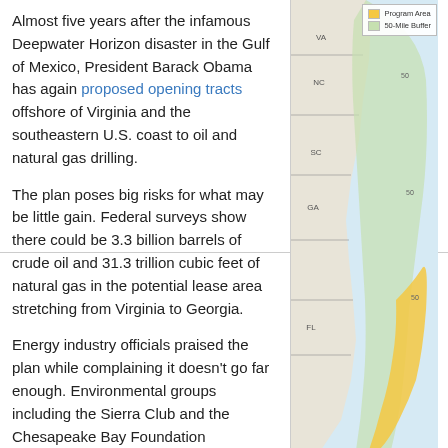Almost five years after the infamous Deepwater Horizon disaster in the Gulf of Mexico, President Barack Obama has again proposed opening tracts offshore of Virginia and the southeastern U.S. coast to oil and natural gas drilling.
The plan poses big risks for what may be little gain. Federal surveys show there could be 3.3 billion barrels of crude oil and 31.3 trillion cubic feet of natural gas in the potential lease area stretching from Virginia to Georgia.
Energy industry officials praised the plan while complaining it doesn't go far enough. Environmental groups including the Sierra Club and the Chesapeake Bay Foundation condemned it. Besides the ecological risk, the move is a step away from refocusing energy on renewables that do not lead to more carbon emissions and climate change. [Read more…]
[Figure (map): Partial map of southeastern U.S. Atlantic coast showing program area and 50-mile buffer zone offshore Virginia to Florida, with legend indicating Program Area and 50-Mile Buffer.]